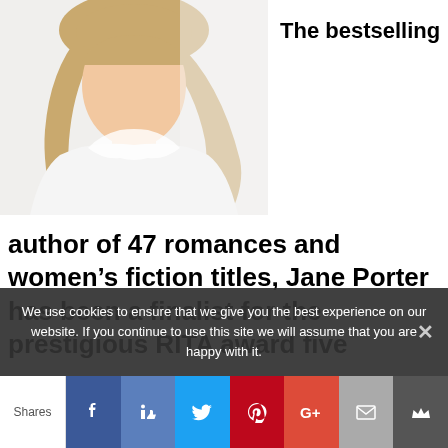[Figure (photo): Portrait photo of a woman with long blonde hair wearing a white top, photographed from chest up against a light background]
The bestselling
author of 47 romances and women's fiction titles, Jane Porter has been a finalist for the prestigious RITA award five
We use cookies to ensure that we give you the best experience on our website. If you continue to use this site we will assume that you are happy with it.
Shares | Facebook | Like | Twitter | Pinterest | Google+ | Mail | Crown